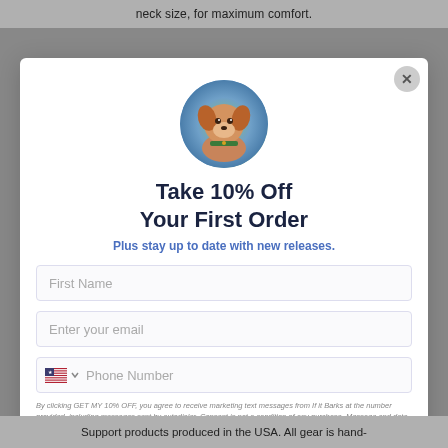neck size, for maximum comfort.
[Figure (photo): Circular photo of a golden/brown dog wearing a green collar, with a colorful blurred background]
Take 10% Off Your First Order
Plus stay up to date with new releases.
First Name
Enter your email
Phone Number
By clicking GET MY 10% OFF, you agree to receive marketing text messages from If it Barks at the number provided, including messages sent by autodialer. Consent is not a condition of any purchase. Message and data rates may apply. Message frequency varies. Reply HELP for help or STOP to cancel.
GET MY 10% OFF
Support products produced in the USA. All gear is hand-